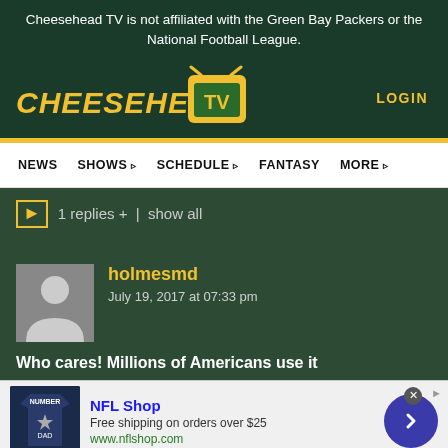Cheesehead TV is not affiliated with the Green Bay Packers or the National Football League.
[Figure (logo): Cheesehead TV logo with yellow text and TV icon on dark green background]
LOGIN
NEWS   SHOWS   SCHEDULE   FANTASY   MORE
1 replies +  | show all
[Figure (photo): User avatar placeholder - grey silhouette of a person]
holmesmd
July 19, 2017 at 07:33 pm
Who cares! Millions of Americans use it
[Figure (infographic): NFL Shop advertisement banner with jersey image, NFL Shop text, free shipping offer, and arrow button]